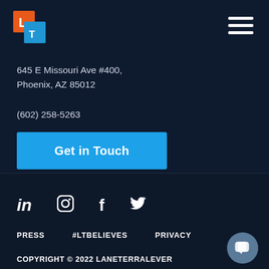[Figure (logo): LaneTerraLever logo: orange square with white L, overlapping blue square with white T]
[Figure (other): Hamburger menu icon (three white horizontal lines) in top right corner]
645 E Missouri Ave #400,
Phoenix, AZ 85012
(602) 258-5263
Get in Touch
[Figure (other): Social media icons row: LinkedIn (in), Instagram, Facebook (f), Twitter (bird)]
PRESS    #LTBELIEVES    PRIVACY
COPYRIGHT © 2022 LANETERRALEVER
[Figure (other): Chat bubble icon in bottom right corner]